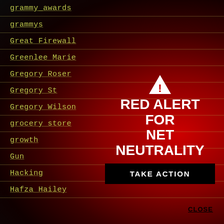grammy_awards
grammys
Great Firewall
Greenlee Marie
Gregory Roser
Gregory St
Gregory Wilson
grocery store
growth
Gun
Hacking
Hafza Hailey
[Figure (infographic): Red Alert for Net Neutrality banner with warning triangle icon]
TAKE ACTION
CLOSE